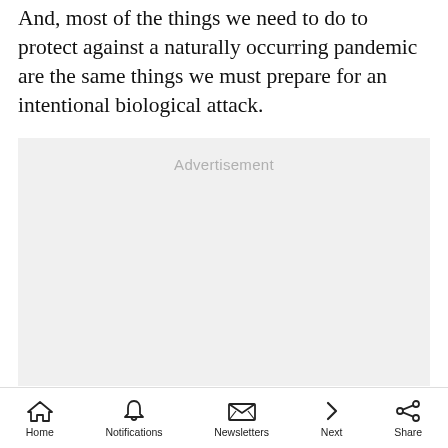And, most of the things we need to do to protect against a naturally occurring pandemic are the same things we must prepare for an intentional biological attack.
[Figure (other): Advertisement placeholder box with light gray background and 'Advertisement' label in gray text]
Home  Notifications  Newsletters  Next  Share